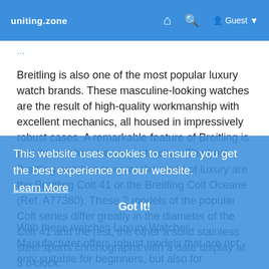uniting.zone  🏠  🔍  Guest
Breitling is also one of the most popular luxury watch brands. These masculine-looking watches are the result of high-quality workmanship with excellent mechanics, all housed in impressively robust cases. A remarkable feature of Breitling is that its watches are very attractive. The best Breitling watches to enter the world of luxury are the Breitling Colt 41 or the Breitling Colt Oceane (Ref. A77380). These 2 models of the popular Colt series differ greatly in the diameter of the Colt 41 and the rest, the other a solid stainless steel sports chronographs with a date display at 3 o'clock.
With these watches Luxury Watches Manufacturer offers robust models that are not only suitable for beginners, but also for experienced watch collectors.
This website uses cookies to ensure you get the best experience on our website.
Learn More
Got It!